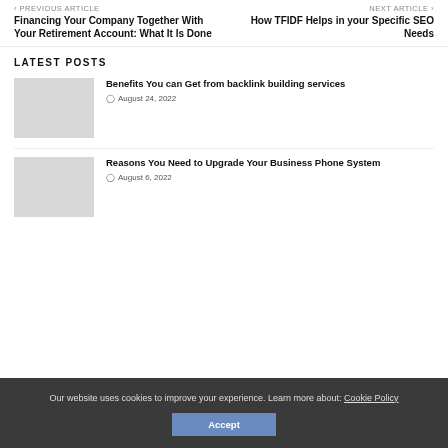< PREVIOUS ARTICLE — Financing Your Company Together With Your Retirement Account: What It Is Done | NEXT ARTICLE > — How TFIDF Helps in your Specific SEO Needs
LATEST POSTS
[Figure (photo): Thumbnail image placeholder for backlink building services article]
Benefits You can Get from backlink building services
August 24, 2022
[Figure (photo): Thumbnail image placeholder for business phone system article]
Reasons You Need to Upgrade Your Business Phone System
August 6, 2022
Our website uses cookies to improve your experience. Learn more about: Cookie Policy
Accept